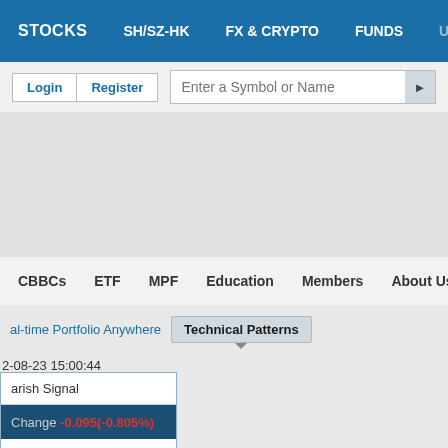STOCKS | SH/SZ-HK | FX & CRYPTO | FUNDS | US STOCKS
Login | Register | Enter a Symbol or Name
[Figure (screenshot): Gray banner/advertisement area]
CBBCs | ETF | MPF | Education | Members | About Us
al-time Portfolio Anywhere | Technical Patterns
2-08-23 15:00:44
arish Signal
Change -0.095(-0.805%)
C H (00179) 's SMA ss.